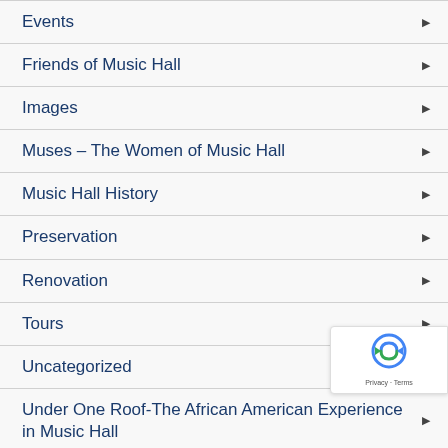Events
Friends of Music Hall
Images
Muses – The Women of Music Hall
Music Hall History
Preservation
Renovation
Tours
Uncategorized
Under One Roof-The African American Experience in Music Hall
Video Post
Volunteer